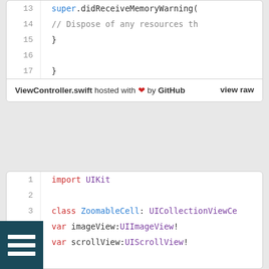[Figure (screenshot): Code snippet top block: lines 13-17 of ViewController.swift showing super.didReceiveMemoryWarning(), dispose comment, closing braces]
ViewController.swift hosted with ❤ by GitHub   view raw
[Figure (screenshot): Code snippet bottom block: lines 1-12 of ZoomableCell Swift file showing import UIKit, class ZoomableCell: UICollectionViewCell, var imageView, var scrollView, required init(coder:), override init(frame:)]